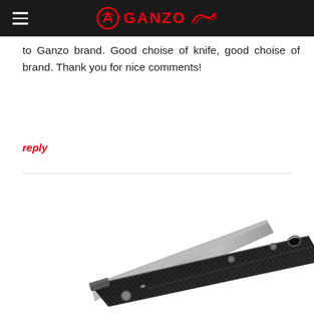GANZO
to Ganzo brand. Good choise of knife, good choise of brand. Thank you for nice comments!
reply
[Figure (photo): A folding knife with black carbon fiber textured handle, partially open showing a grey blade, photographed on white background]